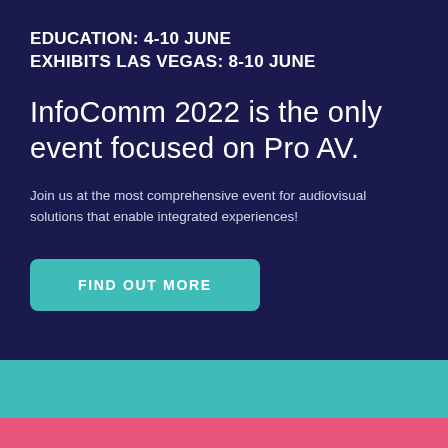EDUCATION: 4-10 JUNE
EXHIBITS LAS VEGAS: 8-10 JUNE
InfoComm 2022 is the only event focused on Pro AV.
Join us at the most comprehensive event for audiovisual solutions that enable integrated experiences!
FIND OUT MORE